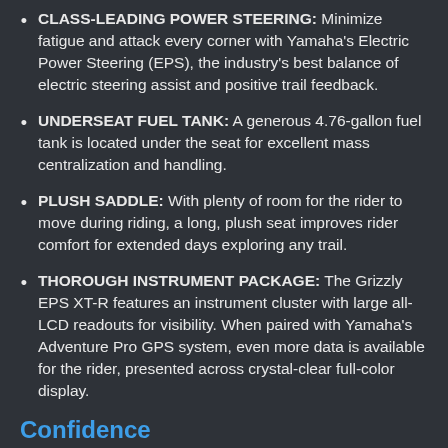CLASS-LEADING POWER STEERING: Minimize fatigue and attack every corner with Yamaha's Electric Power Steering (EPS), the industry's best balance of electric steering assist and positive trail feedback.
UNDERSEAT FUEL TANK: A generous 4.76-gallon fuel tank is located under the seat for excellent mass centralization and handling.
PLUSH SADDLE: With plenty of room for the rider to move during riding, a long, plush seat improves rider comfort for extended days exploring any trail.
THOROUGH INSTRUMENT PACKAGE: The Grizzly EPS XT-R features an instrument cluster with large all-LCD readouts for visibility. When paired with Yamaha's Adventure Pro GPS system, even more data is available for the rider, presented across crystal-clear full-color display.
Confidence
10-YEAR-BELT WARRANTY: The Grizzly EPS XT-